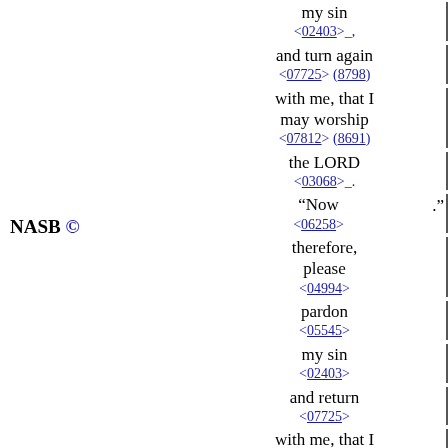my sin <02403>_.
and turn again <07725> (8798)
with me, that I may worship <07812> (8691)
the LORD <03068>_.
NASB ©
"Now <06258> ."
therefore, please <04994>
pardon <05545>
my sin <02403>
and return <07725>
with me, that I